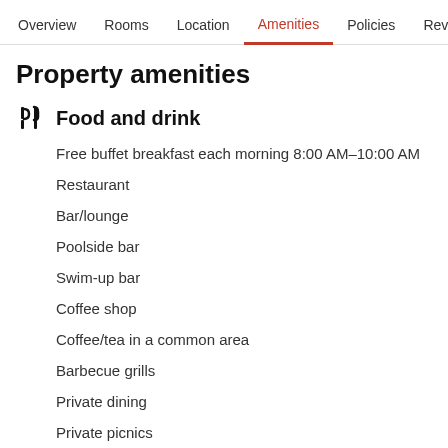Overview  Rooms  Location  Amenities  Policies  Reviews
Property amenities
Food and drink
Free buffet breakfast each morning 8:00 AM–10:00 AM
Restaurant
Bar/lounge
Poolside bar
Swim-up bar
Coffee shop
Coffee/tea in a common area
Barbecue grills
Private dining
Private picnics
Room service (limited hours)
Snack bar/deli